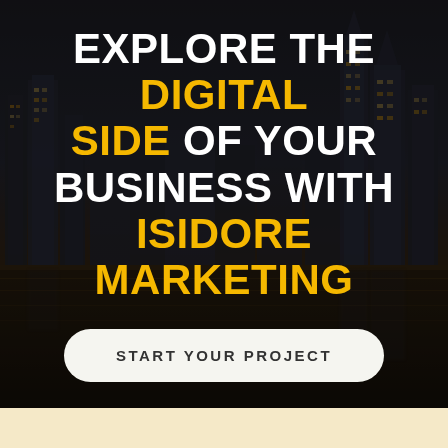[Figure (illustration): Dark-toned city skyline at night with buildings reflected in water, overlaid with semi-transparent dark gradient. Serves as a background for promotional text.]
EXPLORE THE DIGITAL SIDE OF YOUR BUSINESS WITH ISIDORE MARKETING
START YOUR PROJECT